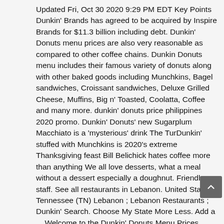Updated Fri, Oct 30 2020 9:29 PM EDT Key Points Dunkin' Brands has agreed to be acquired by Inspire Brands for $11.3 billion including debt. Dunkin' Donuts menu prices are also very reasonable as compared to other coffee chains. Dunkin Donuts menu includes their famous variety of donuts along with other baked goods including Munchkins, Bagel sandwiches, Croissant sandwiches, Deluxe Grilled Cheese, Muffins, Big n' Toasted, Coolatta, Coffee and many more. dunkin' donuts price philippines 2020 promo. Dunkin' Donuts' new Sugarplum Macchiato is a 'mysterious' drink The TurDunkin' stuffed with Munchkins is 2020's extreme Thanksgiving feast Bill Belichick hates coffee more than anything We all love desserts, what a meal without a dessert especially a doughnut. Friendly staff. See all restaurants in Lebanon. United States ; Tennessee (TN) Lebanon ; Lebanon Restaurants ; Dunkin' Search. Choose My State More Less. Add a ... Welcome to the Dunkin' Donuts Menu Prices article; read the below explained guidelines of Dunkin' Donuts menu and prices, and know all the latest updated details regarding the Dunkin' Donuts Menu Prices 2020. $1.69: Muffins (4 Pc.) Dunkin' Donuts, Rockwell See 18 unbiased reviews of Dunkin' Donuts, ranked